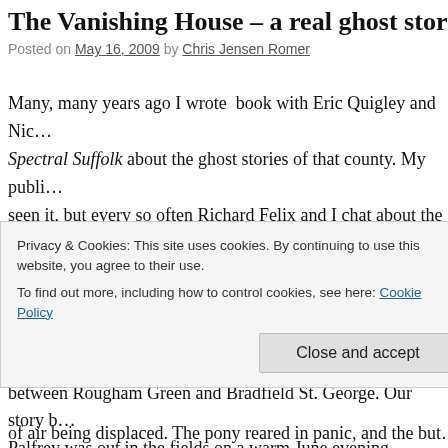The Vanishing House – a real ghost story
Posted on May 16, 2009 by Chris Jensen Romer
Many, many years ago I wrote  book with Eric Quigley and Nic... Spectral Suffolk about the ghost stories of that county. My publi... seen it, but every so often Richard Felix and I chat about the po... tonight it would be fun to share an extract from it…
ROUGHAM GREEN: We have all heard of haunted houses, b... that is a haunt! Yet for over a century this is exactly what has be... between Rougham Green and Bradfield St. George. Our story b... Palfrey was out in the fields on a warm June evening, putting th... He shivered as the evening grew suddenly chilly, and then was s...
Privacy & Cookies: This site uses cookies. By continuing to use this website, you agree to their use.
To find out more, including how to control cookies, see here: Cookie Policy
Close and accept
of air being displaced. The pony reared in panic, and the but...